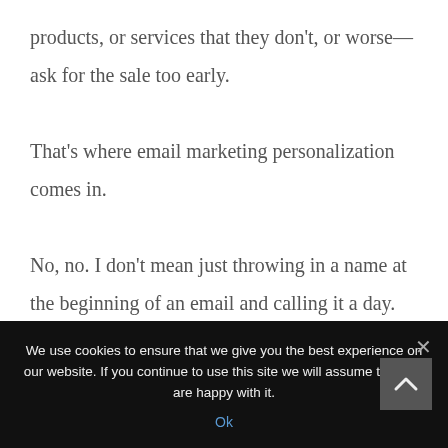products, or services that they don't, or worse—ask for the sale too early.

That's where email marketing personalization comes in.

No, no. I don't mean just throwing in a name at the beginning of an email and calling it a day. I'm talking about tailoring the experience your
We use cookies to ensure that we give you the best experience on our website. If you continue to use this site we will assume that you are happy with it.
Ok